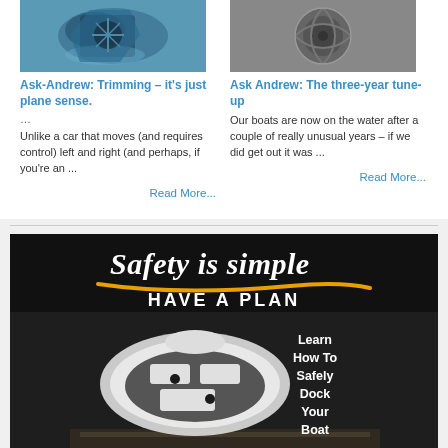[Figure (photo): Aerial or close-up photo of a boat or propeller on water, used as article thumbnail for Ask-Andrew: Trimming article]
Ask-Andrew: Trimming – it's just plane sense.
…
Unlike a car that moves (and requires control) left and right (and perhaps, if you're an ...
Read More...
[Figure (photo): Close-up photo of a boat engine or motor component, used as article thumbnail for Ask Andrew: The three-year tune-up article]
Ask Andrew: The three-year tune-up
Our boats are now on the water after a couple of really unusual years – if we did get out it was ...
Read More...
[Figure (infographic): Advertisement banner with dark background. Top text in script font: 'Safety is simple' with yellow underline curve, then bold text 'HAVE A PLAN'. Below is an aerial view of a white boat being docked. Right side text reads: 'Learn How To Safely Dock Your Boat']